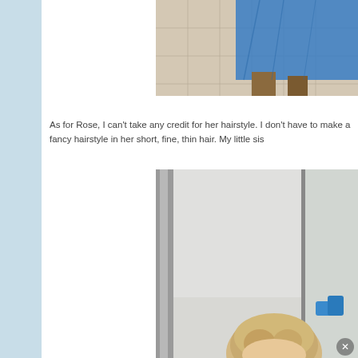[Figure (photo): Partial photo showing tiled floor and a blue garment/dress, feet visible at bottom]
As for Rose, I can't take any credit for her hairstyle. I don't have to make a fancy hairstyle in her short, fine, thin hair. My little sis
[Figure (photo): Photo of a young blonde toddler/child in front of a mirror and glass shower door, with small blue items visible]